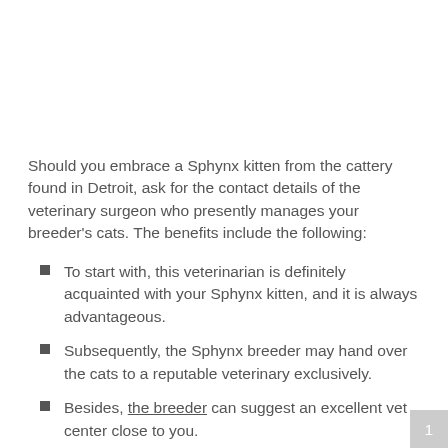Should you embrace a Sphynx kitten from the cattery found in Detroit, ask for the contact details of the veterinary surgeon who presently manages your breeder's cats. The benefits include the following:
To start with, this veterinarian is definitely acquainted with your Sphynx kitten, and it is always advantageous.
Subsequently, the Sphynx breeder may hand over the cats to a reputable veterinary exclusively.
Besides, the breeder can suggest an excellent vet center close to you.
1